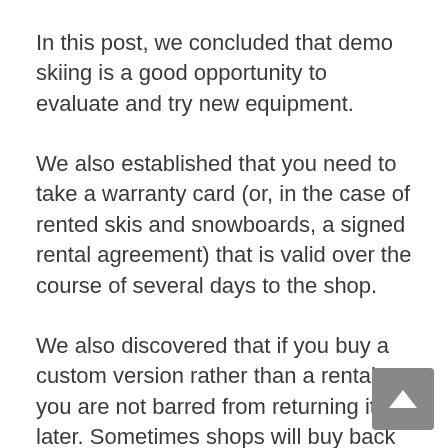In this post, we concluded that demo skiing is a good opportunity to evaluate and try new equipment.
We also established that you need to take a warranty card (or, in the case of rented skis and snowboards, a signed rental agreement) that is valid over the course of several days to the shop.
We also discovered that if you buy a custom version rather than a rental, you are not barred from returning it later. Sometimes shops will buy back your custom-fitted product or offer a partial refund towards a purchase.